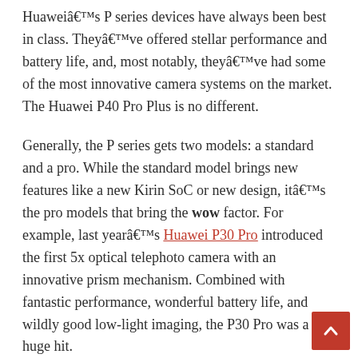Huawei's P series devices have always been best in class. They've offered stellar performance and battery life, and, most notably, they've had some of the most innovative camera systems on the market. The Huawei P40 Pro Plus is no different.
Generally, the P series gets two models: a standard and a pro. While the standard model brings new features like a new Kirin SoC or new design, it's the pro models that bring the wow factor. For example, last year's Huawei P30 Pro introduced the first 5x optical telephoto camera with an innovative prism mechanism. Combined with fantastic performance, wonderful battery life, and wildly good low-light imaging, the P30 Pro was a huge hit.
But this year, Huawei took a page from Samsung's playbook and opted to introduce standard, premium, and ultra premium models. The Huawei P40 Pro Plus